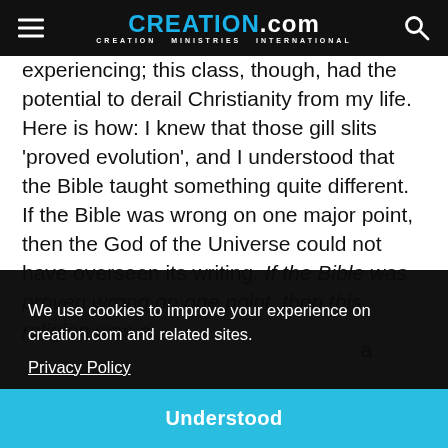CREATION.com — CREATION MINISTRIES INTERNATIONAL
experiencing; this class, though, had the potential to derail Christianity from my life. Here is how: I knew that those gill slits 'proved evolution', and I understood that the Bible taught something quite different. If the Bible was wrong on one major point, then the God of the Universe could not have overseen its writing. If the Bible was proven wrong on one point, then this religion was a
a ... fully ... elves. ... ed in ... used.
We use cookies to improve your experience on creation.com and related sites.
Privacy Policy
Understood